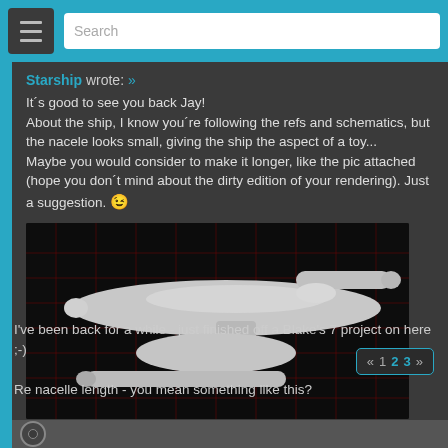Search
Starship wrote: »
It's good to see you back Jay!
About the ship, I know you're following the refs and schematics, but the nacele looks small, giving the ship the aspect of a toy... Maybe you would consider to make it longer, like the pic attached (hope you don't mind about the dirty edition of your rendering). Just a suggestion. 😉
[Figure (photo): 3D render of a starship (Star Trek style) shown in side profile against a dark background with red grid lines. The ship is grey/white with extended nacelles.]
I've been back for a while - just finished off a Blake's 7 project on here ;-)
Re nacelle length - you mean something like this?